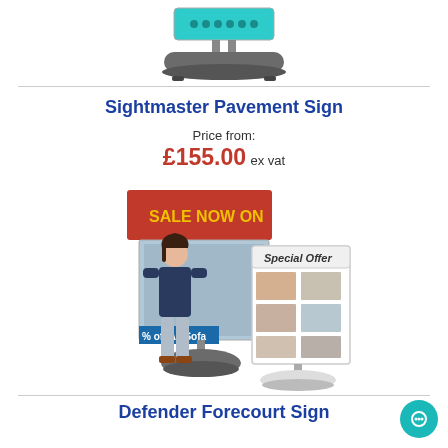[Figure (photo): Sightmaster Pavement Sign product photo showing a grey wheeled base with a teal LED display panel on top]
Sightmaster Pavement Sign
Price from: £155.00 ex vat
[Figure (photo): Defender Forecourt Sign product photo showing two pavement sign stands with a woman standing next to them, one displaying a 'SALE NOW ON' banner and the other a 'Special Offer' multi-panel display]
Defender Forecourt Sign